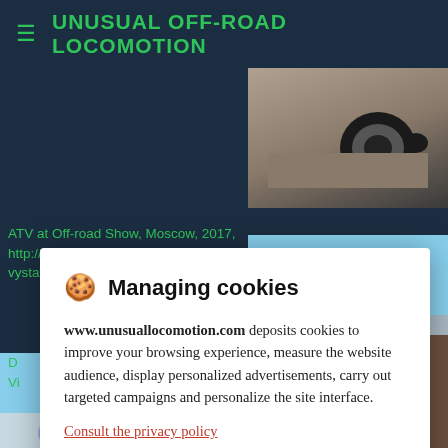UNUSUAL OFF-ROAD LOCOMOTION
ATV at Off-road Show, Moscow, 2017, http://ex-roadmedia.ru/4x4/vystavki-i-festiva vystavki-moscow-off-road-show-2017
[Figure (photo): ATV wheel/tire close-up at off-road show]
[Figure (photo): Large off-road vehicle in outdoor setting with sky background]
Managing cookies
www.unusuallocomotion.com deposits cookies to improve your browsing experience, measure the website audience, display personalized advertisements, carry out targeted campaigns and personalize the site interface.
Consult the privacy policy
Refuse | Settings | Accept